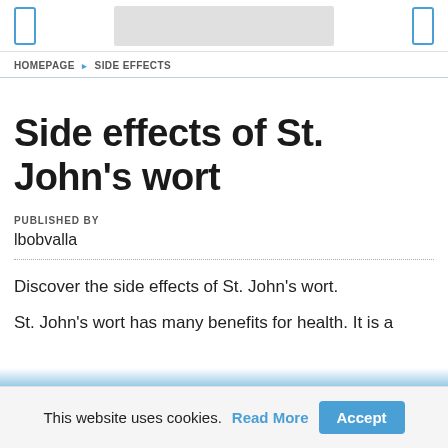HOMEPAGE › SIDE EFFECTS
Side effects of St. John's wort
PUBLISHED BY
lbobvalla
Discover the side effects of St. John's wort.
St. John's wort has many benefits for health. It is a
This website uses cookies. Read More Accept